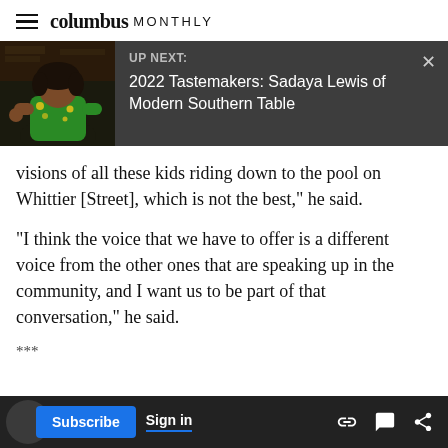columbus MONTHLY
[Figure (screenshot): UP NEXT banner with photo of a woman in a green floral top seated, with dark background. Text reads: UP NEXT: 2022 Tastemakers: Sadaya Lewis of Modern Southern Table. Close (X) button in top right.]
visions of all these kids riding down to the pool on Whittier [Street], which is not the best," he said.
"I think the voice that we have to offer is a different voice from the other ones that are speaking up in the community, and I want us to be part of that conversation," he said.
***
[Figure (screenshot): Bottom navigation bar with dark background. Contains a circle icon, Subscribe button (blue), Sign in button (white with blue underline), and three icons: link, chat bubble, share.]